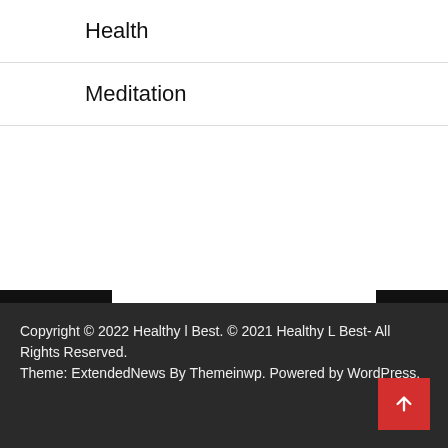Health
Meditation
herapy
eatment
Copyright © 2022 Healthy l Best. © 2021 Healthy L Best- All Rights Reserved.
Theme: ExtendedNews By Themeinwp. Powered by WordPress.
PREVIOUS POST
NEXT POST